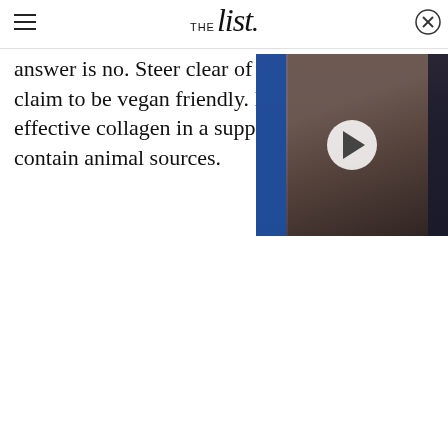THE list.
answer is no. Steer clear of a claim to be vegan friendly. It' effective collagen in a supple contain animal sources.
[Figure (photo): Video thumbnail showing a person's face partially obscured, with a blue stripe overlay and a play button in the center. Close button (X in circle) in top right corner.]